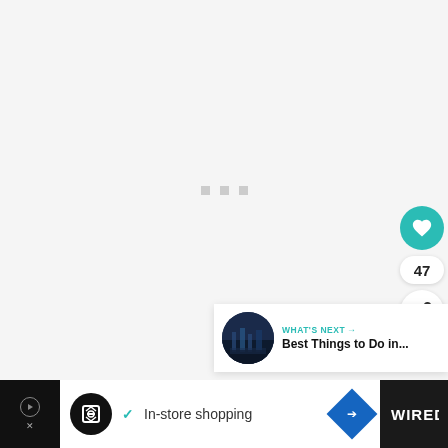[Figure (screenshot): Loading screen with three small gray square dots centered in a light gray area]
[Figure (infographic): Heart (like/save) button in teal circle with count 47, and share button below]
47
[Figure (infographic): WHAT'S NEXT card with thumbnail of city skyline at night and text 'Best Things to Do in...']
WHAT'S NEXT → Best Things to Do in...
[Figure (screenshot): Advertisement bar at bottom: black strip with ad icon, white area with loop logo, checkmark, 'In-store shopping' text, blue navigation icon, and dark bar with WIRED logo]